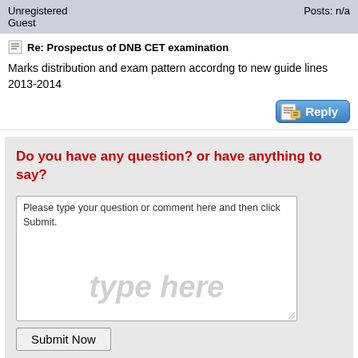Unregistered
Guest
Posts: n/a
Re: Prospectus of DNB CET examination
Marks distribution and exam pattern accordng to new guide lines 2013-2014
[Figure (screenshot): Reply button with notepad icon]
Do you have any question? or have anything to say?
Please type your question or comment here and then click Submit.
type here
Submit Now
Related Articles:
LRS Institute of Tuberculosis and Respiratory Diseases 2011